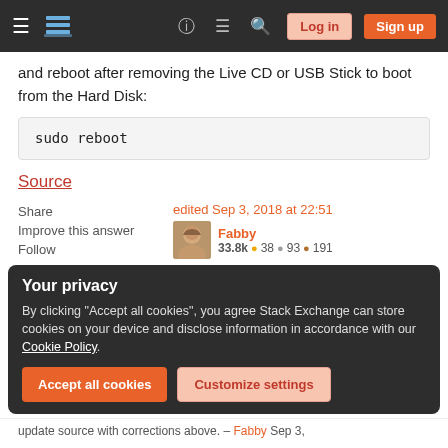Navigation bar with hamburger menu, Stack Exchange logo, help, chat, search icons, Log in and Sign up buttons
and reboot after removing the Live CD or USB Stick to boot from the Hard Disk:
sudo reboot
Source
Share
Improve this answer
Follow
edited Sep 3, 2018 at 22:51
Fabby
33.8k • 38 • 93 • 191
Your privacy
By clicking "Accept all cookies", you agree Stack Exchange can store cookies on your device and disclose information in accordance with our Cookie Policy.
Accept all cookies    Customize settings
update source with corrections above. – Fabby Sep 3,